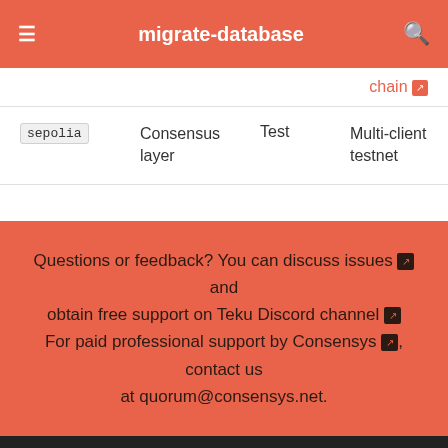migrate-database
|  |  |  | chain ↗ |
| sepolia | Consensus layer | Test | Multi-client testnet |
Questions or feedback? You can discuss issues ↗ and obtain free support on Teku Discord channel ↗ For paid professional support by Consensys ↗, contact us at quorum@consensys.net.
Next slashing-protection
Teku and its documentation are licensed under Apache 2.0 license.